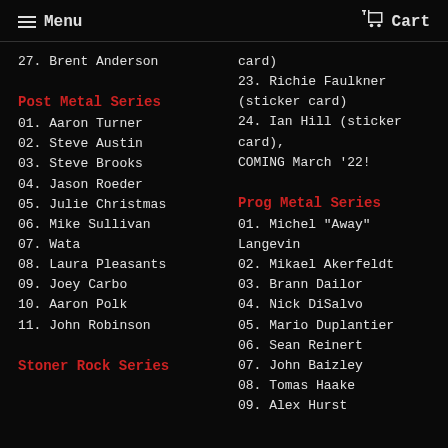Menu  Cart
27. Brent Anderson
Post Metal Series
01. Aaron Turner
02. Steve Austin
03. Steve Brooks
04. Jason Roeder
05. Julie Christmas
06. Mike Sullivan
07. Wata
08. Laura Pleasants
09. Joey Carbo
10. Aaron Polk
11. John Robinson
Stoner Rock Series
card)
23. Richie Faulkner (sticker card)
24. Ian Hill (sticker card), COMING March '22!
Prog Metal Series
01. Michel "Away" Langevin
02. Mikael Akerfeldt
03. Brann Dailor
04. Nick DiSalvo
05. Mario Duplantier
06. Sean Reinert
07. John Baizley
08. Tomas Haake
09. Alex Hurst